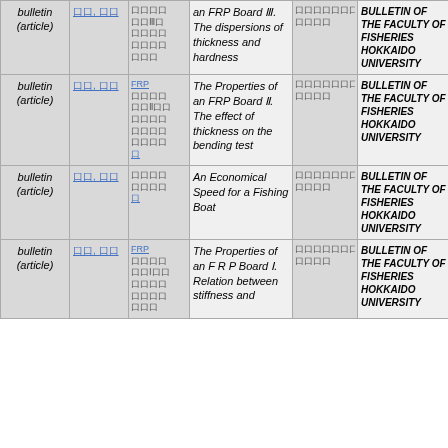| Type | Authors | Keywords | Title | Volume/Issue | Journal | Date |
| --- | --- | --- | --- | --- | --- | --- |
| bulletin (article) | [link] | [CJK text] | an FRP Board Ⅲ. The dispersions of thickness and hardness | [CJK text] | BULLETIN OF THE FACULTY OF FISHERIES HOKKAIDO UNIVERSITY | Nov-1981 |
| bulletin (article) | [link] | FRP [CJK text] | The Properties of an FRP Board Ⅱ. The effect of thickness on the bending test | [CJK text] | BULLETIN OF THE FACULTY OF FISHERIES HOKKAIDO UNIVERSITY | Jun-1981 |
| bulletin (article) | [link] | [CJK text] | An Economical Speed for a Fishing Boat | [CJK text] | BULLETIN OF THE FACULTY OF FISHERIES HOKKAIDO UNIVERSITY | Mar-1981 |
| bulletin (article) | [link] | FRP [CJK text] | The Properties of an F R P Board Ⅰ. Relation between stiffness and | [CJK text] | BULLETIN OF THE FACULTY OF FISHERIES HOKKAIDO UNIVERSITY | Aug-1980 |